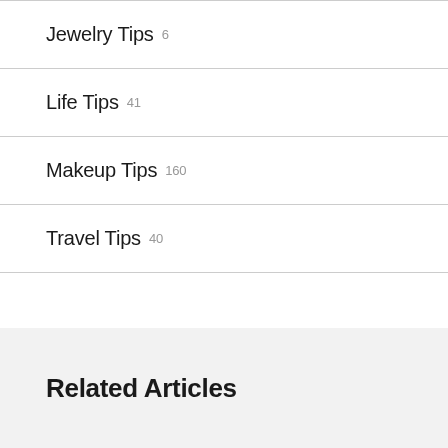Jewelry Tips 6
Life Tips 41
Makeup Tips 160
Travel Tips 40
Related Articles